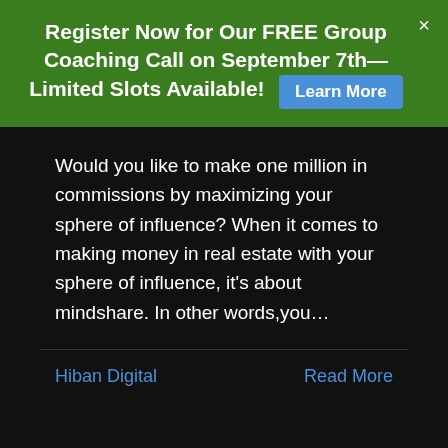Register Now for Our FREE Group Coaching Call on September 7th—Limited Slots Available! Learn More
Would you like to make one million in commissions by maximizing your sphere of influence? When it comes to making money in real estate with your sphere of influence, it's about mindshare. In other words,you…
Hiban Digital
Read More
BLOG
Real Estate Social Media Tips to Hel